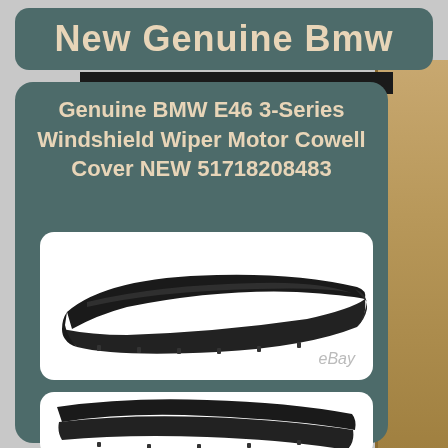New Genuine Bmw
Genuine BMW E46 3-Series Windshield Wiper Motor Cowell Cover NEW 51718208483
[Figure (photo): Black BMW E46 windshield wiper motor cowl cover, elongated curved shape, shown on white background with eBay watermark]
[Figure (photo): Another view of black BMW E46 windshield wiper cowl cover, partially visible at bottom of page]